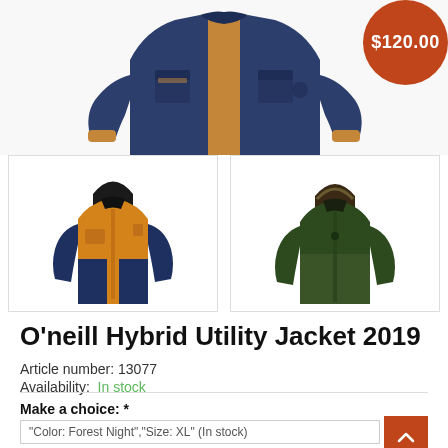[Figure (photo): Main product photo of O'neill Hybrid Utility Jacket 2019 in navy/tan color, shown from front on white background, partially cropped at top]
[Figure (photo): Price badge circle in orange-red showing $120.00]
[Figure (photo): Thumbnail of O'neill jacket in orange and navy color variant]
[Figure (photo): Thumbnail of O'neill jacket in forest green/olive color variant]
O'neill Hybrid Utility Jacket 2019
Article number: 13077
Availability:  In stock
Make a choice: *
"Color: Forest Night","Size: XL" (In stock)